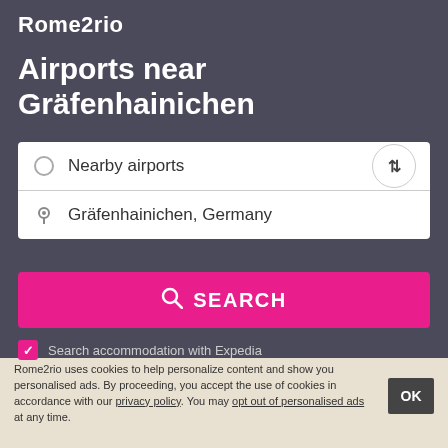Rome2rio
Airports near Gräfenhainichen
[Figure (screenshot): Search widget with two fields: 'Nearby airports' (radio button) and 'Gräfenhainichen, Germany' (location pin), with a swap button on the right side.]
SEARCH
Search accommodation with Expedia
Rome2rio uses cookies to help personalize content and show you personalised ads. By proceeding, you accept the use of cookies in accordance with our privacy policy. You may opt out of personalised ads at any time.